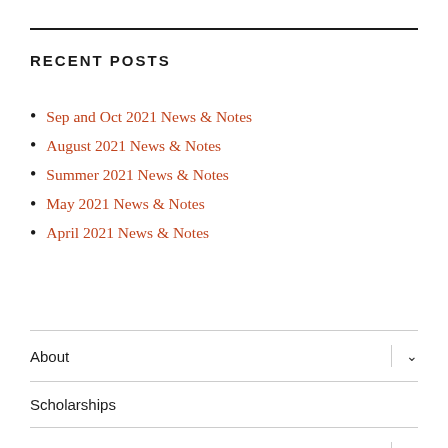RECENT POSTS
Sep and Oct 2021 News & Notes
August 2021 News & Notes
Summer 2021 News & Notes
May 2021 News & Notes
April 2021 News & Notes
About
Scholarships
Newsletter